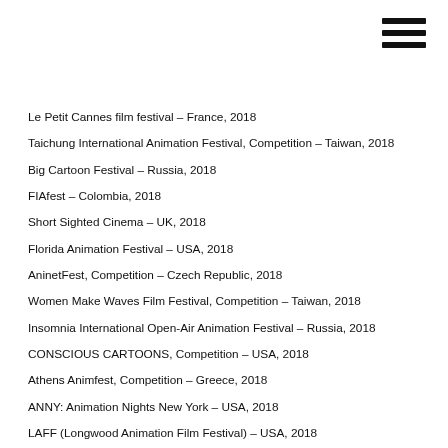[Figure (other): Hamburger menu icon (three horizontal bars) in top-right corner]
Le Petit Cannes film festival – France, 2018
Taichung International Animation Festival, Competition – Taiwan, 2018
Big Cartoon Festival – Russia, 2018
FIAfest – Colombia, 2018
Short Sighted Cinema – UK, 2018
Florida Animation Festival – USA, 2018
AninetFest, Competition – Czech Republic, 2018
Women Make Waves Film Festival, Competition – Taiwan, 2018
Insomnia International Open-Air Animation Festival – Russia, 2018
CONSCIOUS CARTOONS, Competition – USA, 2018
Athens Animfest, Competition – Greece, 2018
ANNY: Animation Nights New York – USA, 2018
LAFF (Longwood Animation Film Festival) – USA, 2018
Best Seconds, Competition – Switzerland, 2018
Copper Coast International Film Festival – UK, 2018